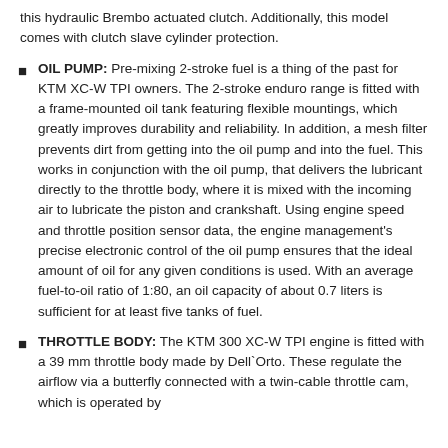this hydraulic Brembo actuated clutch. Additionally, this model comes with clutch slave cylinder protection.
OIL PUMP: Pre-mixing 2-stroke fuel is a thing of the past for KTM XC-W TPI owners. The 2-stroke enduro range is fitted with a frame-mounted oil tank featuring flexible mountings, which greatly improves durability and reliability. In addition, a mesh filter prevents dirt from getting into the oil pump and into the fuel. This works in conjunction with the oil pump, that delivers the lubricant directly to the throttle body, where it is mixed with the incoming air to lubricate the piston and crankshaft. Using engine speed and throttle position sensor data, the engine management's precise electronic control of the oil pump ensures that the ideal amount of oil for any given conditions is used. With an average fuel-to-oil ratio of 1:80, an oil capacity of about 0.7 liters is sufficient for at least five tanks of fuel.
THROTTLE BODY: The KTM 300 XC-W TPI engine is fitted with a 39 mm throttle body made by Dell`Orto. These regulate the airflow via a butterfly connected with a twin-cable throttle cam, which is operated by